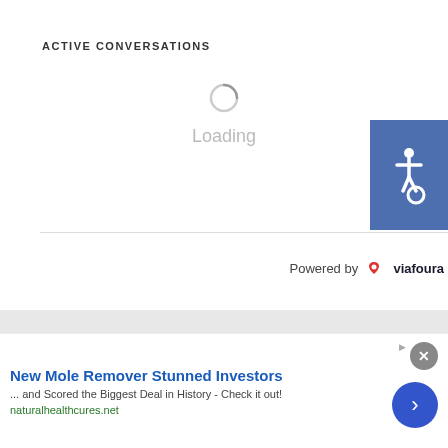ACTIVE CONVERSATIONS
Loading
Powered by viafoura
[Figure (logo): KION 5/46 CBS, Telemundo 23, and Central Coast CW 14 station logos]
EEO Report | Terms of Use | Privacy Policy | Community
New Mole Remover Stunned Investors
... and Scored the Biggest Deal in History - Check it out!
naturalhealthcures.net